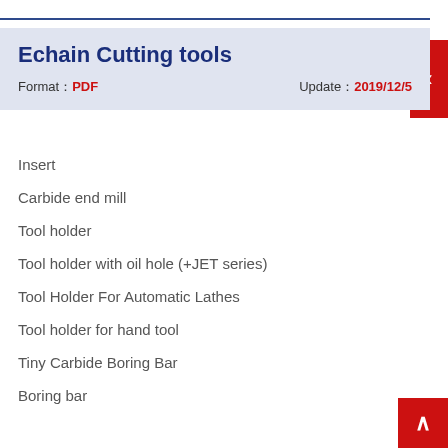Echain Cutting tools
Format：PDF    Update：2019/12/5
Insert
Carbide end mill
Tool holder
Tool holder with oil hole (+JET series)
Tool Holder For Automatic Lathes
Tool holder for hand tool
Tiny Carbide Boring Bar
Boring bar